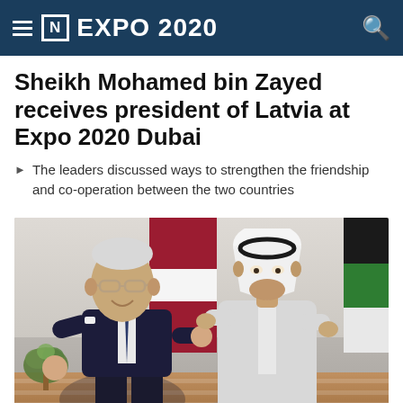[N] EXPO 2020
Sheikh Mohamed bin Zayed receives president of Latvia at Expo 2020 Dubai
The leaders discussed ways to strengthen the friendship and co-operation between the two countries
[Figure (photo): Two men seated on a wooden bench in conversation. The man on the left is an elderly gentleman in a dark suit and tie. The man on the right is wearing a white kandura and headdress. Flags of Latvia and UAE are visible in the background.]